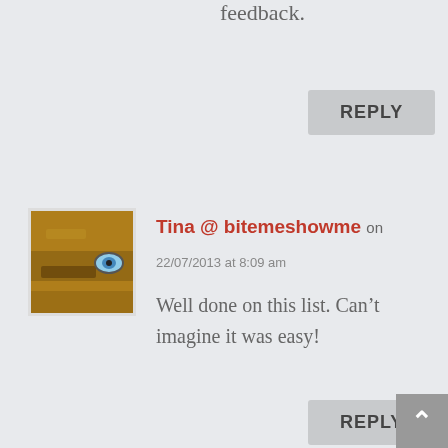feedback.
REPLY
[Figure (photo): Avatar image of Tina, showing a wooden textured surface with a blue eye-like detail]
Tina @ bitemeshowme on
22/07/2013 at 8:09 am
Well done on this list. Can't imagine it was easy!
REPLY
[Figure (photo): Avatar photo of Thang Ngo, an Asian man]
Thang Ngo on
22/07/2013 at 8:56 pm